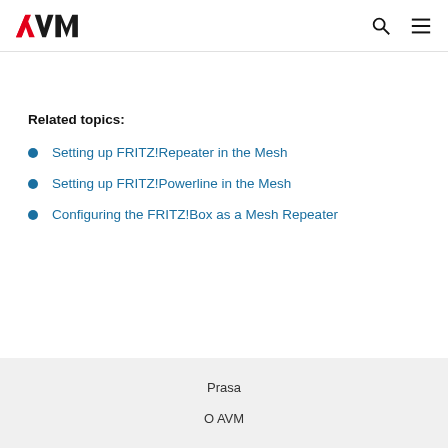AVM
Related topics:
Setting up FRITZ!Repeater in the Mesh
Setting up FRITZ!Powerline in the Mesh
Configuring the FRITZ!Box as a Mesh Repeater
Prasa
O AVM